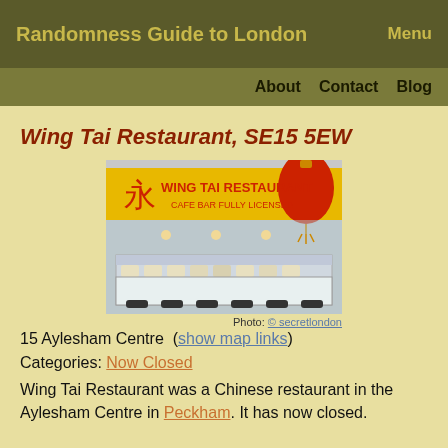Randomness Guide to London | Menu
About | Contact | Blog
Wing Tai Restaurant, SE15 5EW
[Figure (photo): Photo of Wing Tai Restaurant storefront with yellow sign and red Chinese lantern. Photo credit: © secretlondon]
Photo: © secretlondon
15 Aylesham Centre  (show map links)
Categories: Now Closed
Wing Tai Restaurant was a Chinese restaurant in the Aylesham Centre in Peckham. It has now closed.